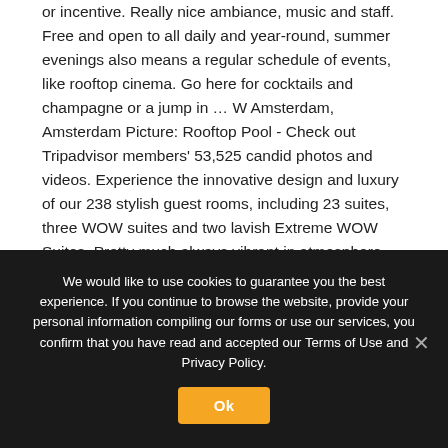or incentive. Really nice ambiance, music and staff. Free and open to all daily and year-round, summer evenings also means a regular schedule of events, like rooftop cinema. Go here for cocktails and champagne or a jump in … W Amsterdam, Amsterdam Picture: Rooftop Pool - Check out Tripadvisor members' 53,525 candid photos and videos. Experience the innovative design and luxury of our 238 stylish guest rooms, including 23 suites, three WOW suites and two lavish Extreme WOW Suites. Pretty much always vibrant in atmosphere, the rooftop turns extra hot during weekend nights when Club Canvas opens up for good times and DJs. W Amsterdam, Amsterdam Picture: Rooftop view from the exchange
We would like to use cookies to guarantee you the best experience. If you continue to browse the website, provide your personal information compiling our forms or use our services, you confirm that you have read and accepted our Terms of Use and Privacy Policy.
Ok